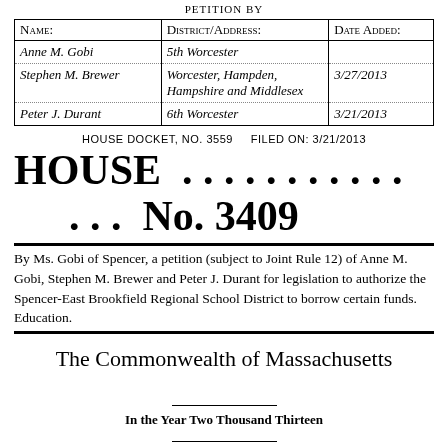PETITION BY
| Name: | District/Address: | Date Added: |
| --- | --- | --- |
| Anne M. Gobi | 5th Worcester |  |
| Stephen M. Brewer | Worcester, Hampden, Hampshire and Middlesex | 3/27/2013 |
| Peter J. Durant | 6th Worcester | 3/21/2013 |
HOUSE DOCKET, NO. 3559    FILED ON: 3/21/2013
HOUSE . . . . . . . . . . . .   . . . No. 3409
By Ms. Gobi of Spencer, a petition (subject to Joint Rule 12) of Anne M. Gobi, Stephen M. Brewer and Peter J. Durant for legislation to authorize the Spencer-East Brookfield Regional School District to borrow certain funds.  Education.
The Commonwealth of Massachusetts
In the Year Two Thousand Thirteen